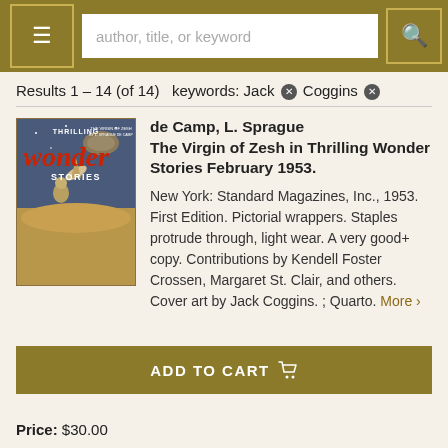≡  author, title, or keyword  🔍
Results 1 – 14 (of 14)  keywords: Jack ✕ Coggins ✕
[Figure (photo): Cover of Thrilling Wonder Stories magazine, February 1953, showing a science fiction scene with a rocket and astronaut in space]
de Camp, L. Sprague
The Virgin of Zesh in Thrilling Wonder Stories February 1953.
New York: Standard Magazines, Inc., 1953. First Edition. Pictorial wrappers. Staples protrude through, light wear. A very good+ copy. Contributions by Kendell Foster Crossen, Margaret St. Clair, and others. Cover art by Jack Coggins. ; Quarto. More ›
ADD TO CART 🛒
Price: $30.00